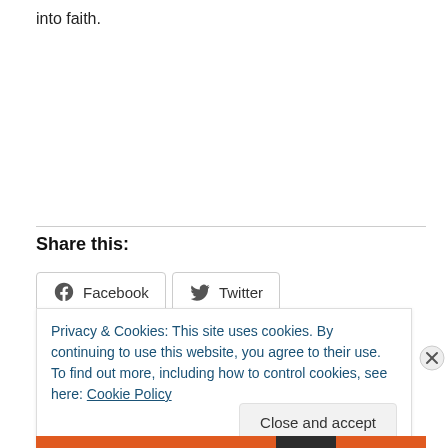into faith.
Share this:
Facebook  Twitter
Privacy & Cookies: This site uses cookies. By continuing to use this website, you agree to their use.
To find out more, including how to control cookies, see here: Cookie Policy
Close and accept